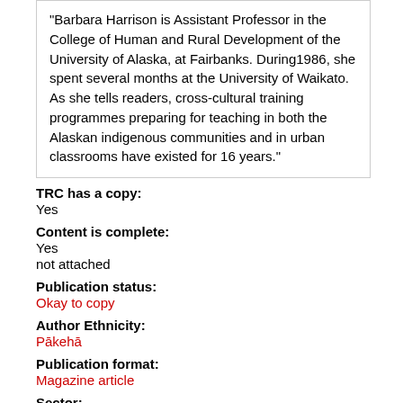"Barbara Harrison is Assistant Professor in the College of Human and Rural Development of the University of Alaska, at Fairbanks. During1986, she spent several months at the University of Waikato. As she tells readers, cross-cultural training programmes preparing for teaching in both the Alaskan indigenous communities and in urban classrooms have existed for 16 years."
TRC has a copy:
Yes
Content is complete:
Yes
not attached
Publication status:
Okay to copy
Author Ethnicity:
Pākehā
Publication format:
Magazine article
Sector:
Cross-sector   Education - early childhood   Education - primary   Education - secondary   Education - tertiary
Cultural Related Topics:
Bi-cultural   Multi-cultural   Racism